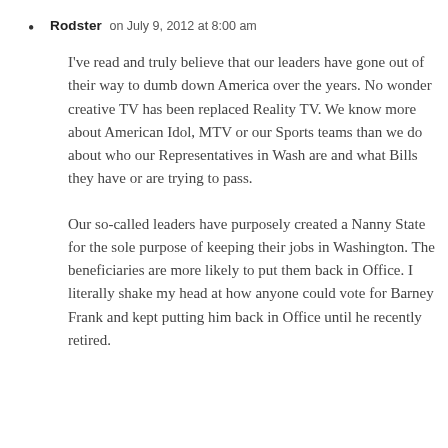Rodster on July 9, 2012 at 8:00 am
I've read and truly believe that our leaders have gone out of their way to dumb down America over the years. No wonder creative TV has been replaced Reality TV. We know more about American Idol, MTV or our Sports teams than we do about who our Representatives in Wash are and what Bills they have or are trying to pass.
Our so-called leaders have purposely created a Nanny State for the sole purpose of keeping their jobs in Washington. The beneficiaries are more likely to put them back in Office. I literally shake my head at how anyone could vote for Barney Frank and kept putting him back in Office until he recently retired.